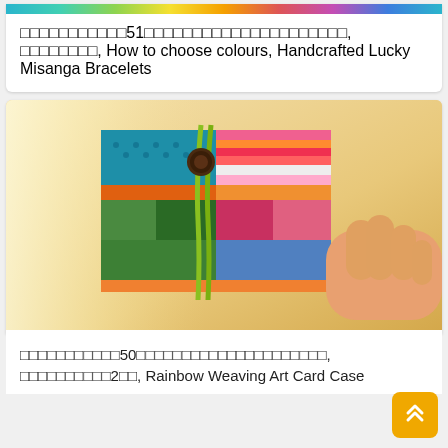[Figure (photo): Top portion of a colorful thread/bracelet image, cropped at top of page]
□□□□□□□□□□□51□□□□□□□□□□□□□□□□□□□□□, □□□□□□□□, How to choose colours, Handcrafted Lucky Misanga Bracelets
[Figure (photo): Photo of a colorful handwoven card case with patchwork textile pattern in blues, pinks, oranges, greens, held by a person's hand on a wooden surface with a green cord and dark button closure]
□□□□□□□□□□□50□□□□□□□□□□□□□□□□□□□□□, □□□□□□□□□□2□□, Rainbow Weaving Art Card Case